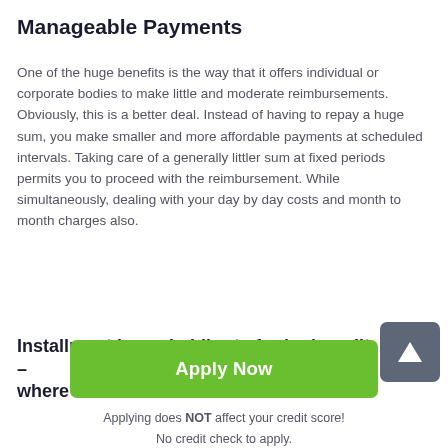Manageable Payments
One of the huge benefits is the way that it offers individual or corporate bodies to make little and moderate reimbursements. Obviously, this is a better deal. Instead of having to repay a huge sum, you make smaller and more affordable payments at scheduled intervals. Taking care of a generally littler sum at fixed periods permits you to proceed with the reimbursement. While simultaneously, dealing with your day by day costs and month to month charges also.
Installment loans in Liberty for bad credit – where's the catch?
[Figure (other): Grey square button with white upward arrow, scroll-to-top button]
Apply Now
Applying does NOT affect your credit score!
No credit check to apply.